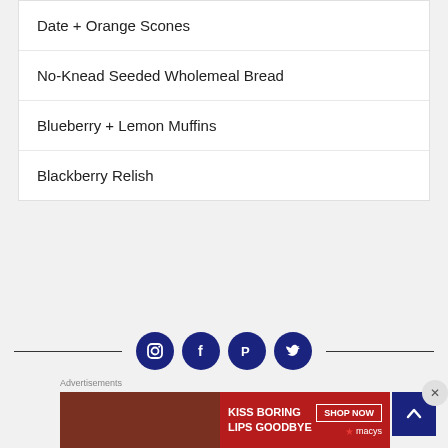Date + Orange Scones
No-Knead Seeded Wholemeal Bread
Blueberry + Lemon Muffins
Blackberry Relish
[Figure (infographic): Social media icons (Instagram, Facebook, Pinterest, Twitter) as white icons on dark navy circles, flanked by horizontal divider lines]
Advertisements
[Figure (photo): Macy's advertisement banner: 'KISS BORING LIPS GOODBYE' with SHOP NOW button on red background with woman's face]